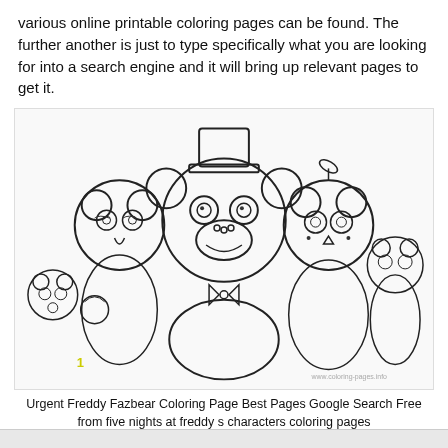various online printable coloring pages can be found. The further another is just to type specifically what you are looking for into a search engine and it will bring up relevant pages to get it.
[Figure (illustration): A coloring page illustration showing Five Nights at Freddy's characters including Freddy Fazbear wearing a top hat in the center, surrounded by other animatronic characters. Watermark reads www.coloring-pages.info. Number '1' visible in lower left.]
Urgent Freddy Fazbear Coloring Page Best Pages Google Search Free from five nights at freddy s characters coloring pages